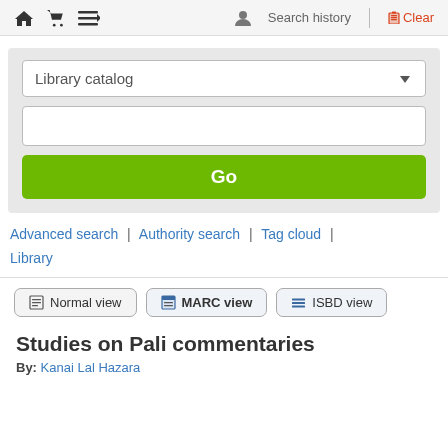🏠 🛒 ☰ ▾  👤 Search history | Clear
[Figure (screenshot): Search interface with Library catalog dropdown, empty search input, and green Go button]
Advanced search | Authority search | Tag cloud | Library
[Figure (screenshot): View toggle buttons: Normal view, MARC view, ISBD view]
Studies on Pali commentaries
By: Kanai Lal Hazara